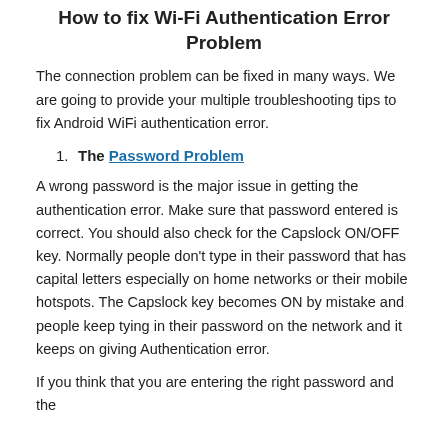How to fix Wi-Fi Authentication Error Problem
The connection problem can be fixed in many ways. We are going to provide your multiple troubleshooting tips to fix Android WiFi authentication error.
1. The Password Problem
A wrong password is the major issue in getting the authentication error. Make sure that password entered is correct. You should also check for the Capslock ON/OFF key. Normally people don't type in their password that has capital letters especially on home networks or their mobile hotspots. The Capslock key becomes ON by mistake and people keep tying in their password on the network and it keeps on giving Authentication error.
If you think that you are entering the right password and the